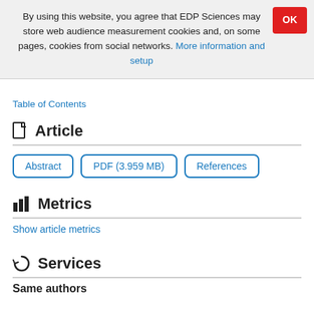By using this website, you agree that EDP Sciences may store web audience measurement cookies and, on some pages, cookies from social networks. More information and setup
Table of Contents
Article
Abstract | PDF (3.959 MB) | References
Metrics
Show article metrics
Services
Same authors